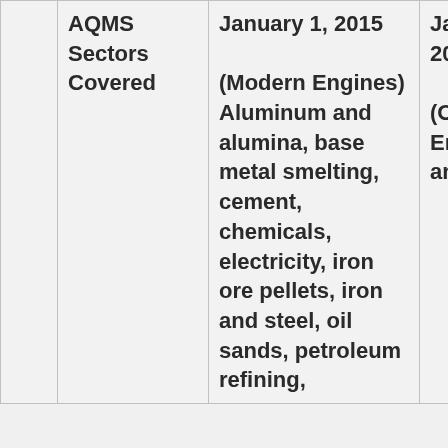|  | AQMS Sectors Covered | January 1, 2015 (Modern Engines) Aluminum and alumina, base metal smelting, cement, chemicals, electricity, iron ore pellets, iron and steel, oil sands, petroleum refining, | January 2015 (Original Engines) and Gas |
| --- | --- | --- | --- |